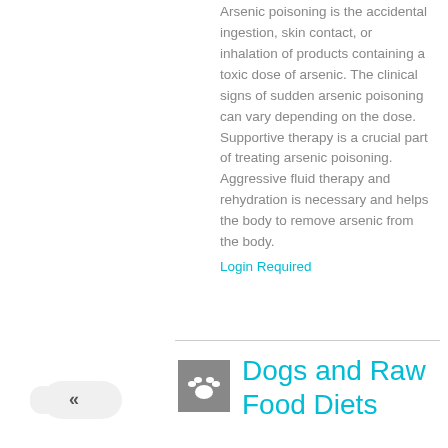Arsenic poisoning is the accidental ingestion, skin contact, or inhalation of products containing a toxic dose of arsenic. The clinical signs of sudden arsenic poisoning can vary depending on the dose. Supportive therapy is a crucial part of treating arsenic poisoning. Aggressive fluid therapy and rehydration is necessary and helps the body to remove arsenic from the body.
Login Required
Dogs and Raw Food Diets
[Figure (illustration): Gray square icon with a white paw print]